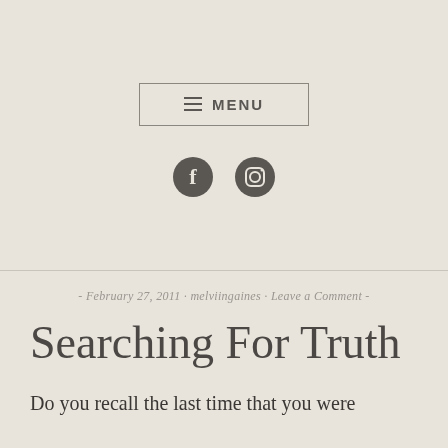[Figure (screenshot): Navigation menu button with hamburger icon and MENU text in a rectangular border]
[Figure (screenshot): Social media icons: Facebook and Instagram]
- February 27, 2011 · melviingaines · Leave a Comment -
Searching For Truth
Do you recall the last time that you were